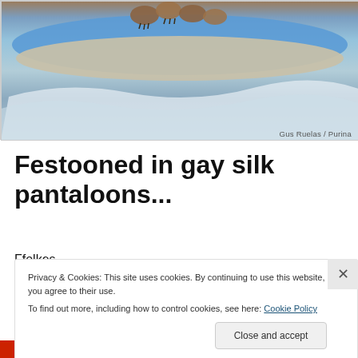[Figure (photo): Dogs on a surfboard riding a wave, viewed from behind, on a blue surfboard]
Gus Ruelas / Purina
Festooned in gay silk pantaloons...
Ffolkes,
“The countenance is the portrait of the soul, and the eyes mark its intentions.”
Privacy & Cookies: This site uses cookies. By continuing to use this website, you agree to their use.
To find out more, including how to control cookies, see here: Cookie Policy
Close and accept